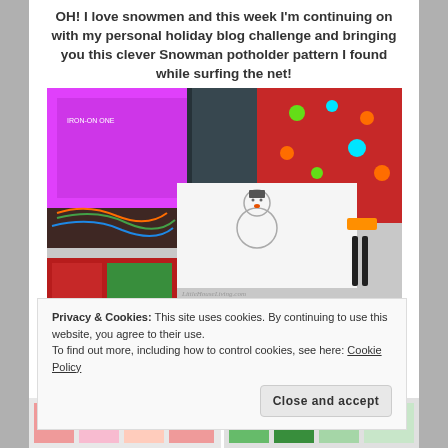OH!  I love snowmen and this week I'm continuing on with my personal holiday blog challenge and bringing you this clever Snowman potholder pattern I found while surfing the net!
[Figure (photo): Overhead photo of sewing/craft supplies including colorful fabrics, thread, markers, a snowman pattern template, and a pink packaging box on a table. Watermark reads 'LittleHouseLiving.com'.]
Privacy & Cookies: This site uses cookies. By continuing to use this website, you agree to their use.
To find out more, including how to control cookies, see here: Cookie Policy
Close and accept
[Figure (photo): Two partial images at the bottom of the page showing quilting/patchwork projects with Christmas-themed fabrics.]